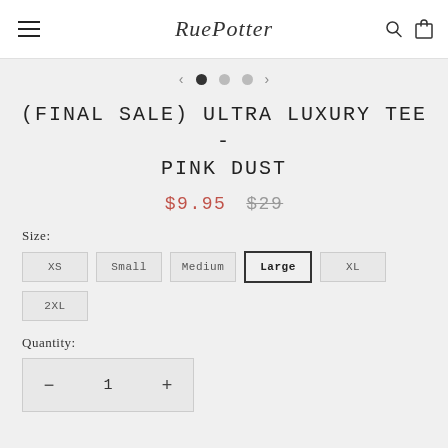Rue Potter
(FINAL SALE) ULTRA LUXURY TEE - PINK DUST
$9.95  $29
Size:
XS  Small  Medium  Large  XL  2XL
Quantity:
1